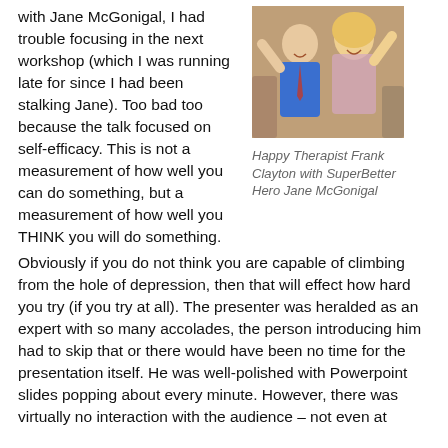with Jane McGonigal, I had trouble focusing in the next workshop (which I was running late for since I had been stalking Jane).  Too bad too because the talk focused on self-efficacy.  This is not a measurement of how well you can do something, but a measurement of how well you THINK you will do something.  Obviously if you do not think you are capable of climbing from the hole of depression, then that will effect how hard you try (if you try at all).  The presenter was heralded as an expert with so many accolades, the person introducing him had to skip that or there would have been no time for the presentation itself.  He was well-polished with Powerpoint slides popping about every minute.  However, there was virtually no interaction with the audience – not even at
[Figure (photo): Photo of a happy therapist Frank Clayton with SuperBetter Hero Jane McGonigal, both smiling and raising arms at what appears to be a conference event.]
Happy Therapist Frank Clayton with SuperBetter Hero Jane McGonigal